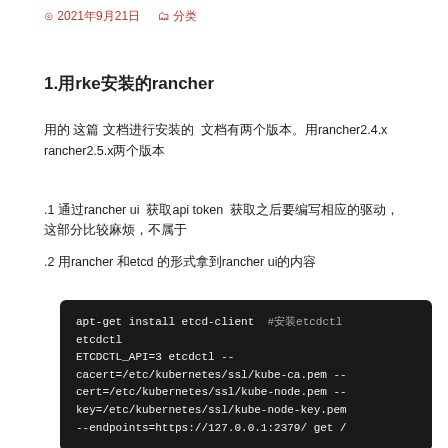2021年9月21日　　　分类
1.用rke安装的rancher
用的 这篇 文档进行安装的  文档有两个版本。用rancher2.4.x rancher2.5.x两个版本
.1 通过rancher ui  获取api token  获取之后要编写相应的驱动，这部分比较麻烦，不属于
.2 用rancher 和etcd 的形式拿到rancher ui的内容
[Figure (screenshot): Code block showing apt-get install etcd-client command and ETCDCTL_API=3 etcdctl with SSL certificate paths for kubernetes]